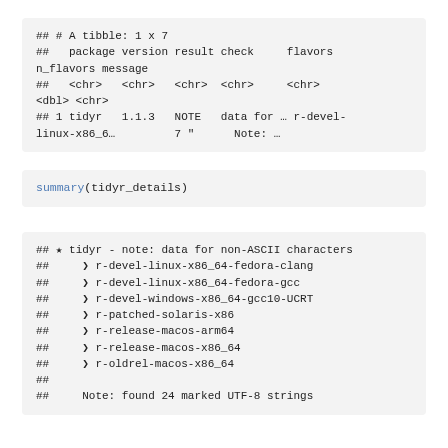## # A tibble: 1 x 7
##   package version result check     flavors n_flavors message
##   <chr>   <chr>   <chr>  <chr>     <chr>    <dbl> <chr>
## 1 tidyr   1.1.3   NOTE   data for … r-devel-linux-x86_6…         7 "      Note: …
summary(tidyr_details)
## ★ tidyr - note: data for non-ASCII characters
##     ❯ r-devel-linux-x86_64-fedora-clang
##     ❯ r-devel-linux-x86_64-fedora-gcc
##     ❯ r-devel-windows-x86_64-gcc10-UCRT
##     ❯ r-patched-solaris-x86
##     ❯ r-release-macos-arm64
##     ❯ r-release-macos-x86_64
##     ❯ r-oldrel-macos-x86_64
##
##     Note: found 24 marked UTF-8 strings